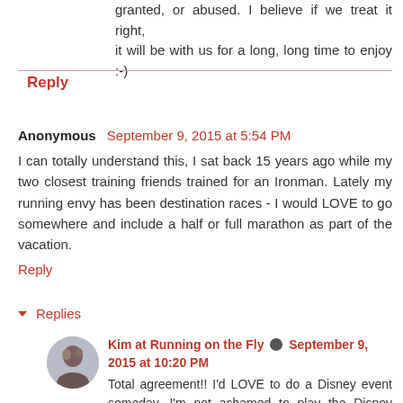granted, or abused. I believe if we treat it right, it will be with us for a long, long time to enjoy :-)
Reply
Anonymous September 9, 2015 at 5:54 PM
I can totally understand this, I sat back 15 years ago while my two closest training friends trained for an Ironman. Lately my running envy has been destination races - I would LOVE to go somewhere and include a half or full marathon as part of the vacation.
Reply
Replies
Kim at Running on the Fly September 9, 2015 at 10:20 PM
Total agreement!! I'd LOVE to do a Disney event someday. I'm not ashamed to play the Disney trump card to get my kids to do a race with me